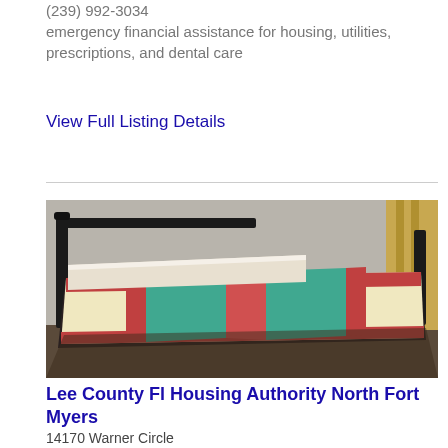(239) 992-3034
emergency financial assistance for housing, utilities, prescriptions, and dental care
View Full Listing Details
[Figure (photo): Photo of a single bed with a colorful patchwork quilt/bedspread in a plain room with beige walls]
Lee County Fl Housing Authority North Fort Myers
14170 Warner Circle
North Fort Myers, FL - 33903
(239) 997-6688
Housing Authority, Low Income Affordable Housing,